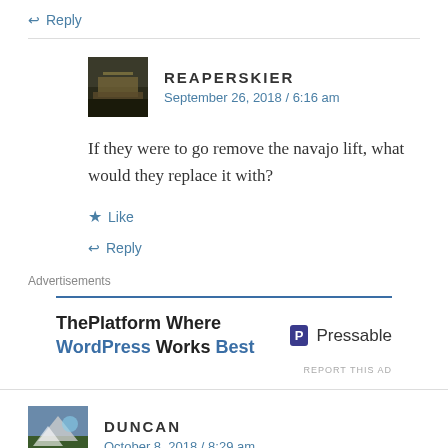↩ Reply
REAPERSKIER
September 26, 2018 / 6:16 am
If they were to go remove the navajo lift, what would they replace it with?
★ Like
↩ Reply
Advertisements
ThePlatform Where WordPress Works Best
P Pressable
REPORT THIS AD
DUNCAN
October 8, 2018 / 8:29 am